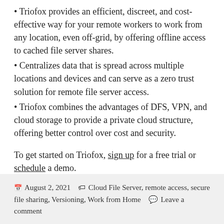Triofox provides an efficient, discreet, and cost-effective way for your remote workers to work from any location, even off-grid, by offering offline access to cached file server shares.
Centralizes data that is spread across multiple locations and devices and can serve as a zero trust solution for remote file server access.
Triofox combines the advantages of DFS, VPN, and cloud storage to provide a private cloud structure, offering better control over cost and security.
To get started on Triofox, sign up for a free trial or schedule a demo.
August 2, 2021   Cloud File Server, remote access, secure file sharing, Versioning, Work from Home   Leave a comment